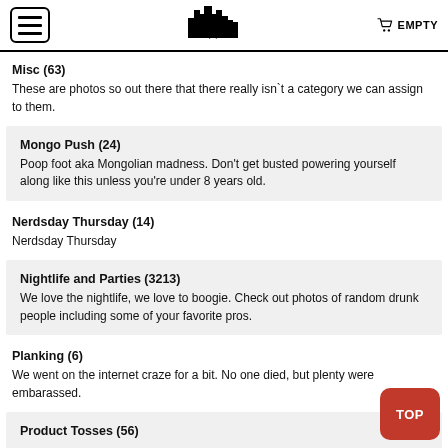EMPTY
Misc (63)
These are photos so out there that there really isn`t a category we can assign to them.
Mongo Push (24)
Poop foot aka Mongolian madness. Don't get busted powering yourself along like this unless you're under 8 years old.
Nerdsday Thursday (14)
Nerdsday Thursday
Nightlife and Parties (3213)
We love the nightlife, we love to boogie. Check out photos of random drunk people including some of your favorite pros.
Planking (6)
We went on the internet craze for a bit. No one died, but plenty were embarassed.
Product Tosses (56)